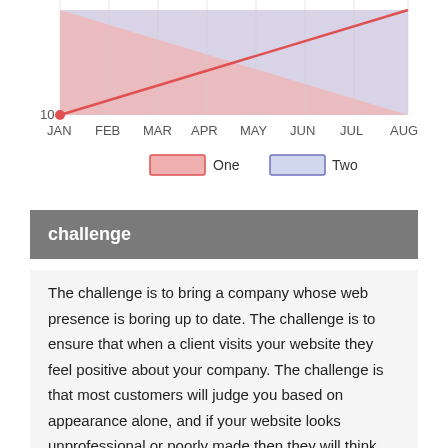[Figure (area-chart): ]
challenge
The challenge is to bring a company whose web presence is boring up to date. The challenge is to ensure that when a client visits your website they feel positive about your company. The challenge is that most customers will judge you based on appearance alone, and if your website looks unprofessional or poorly made then they will think your company as a whole is unprofessional. Each and every part of the organization matters when winning over a new client: